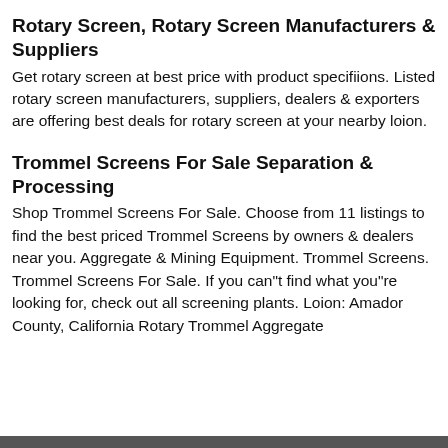Rotary Screen, Rotary Screen Manufacturers & Suppliers
Get rotary screen at best price with product specifiions. Listed rotary screen manufacturers, suppliers, dealers & exporters are offering best deals for rotary screen at your nearby loion.
Trommel Screens For Sale Separation & Processing
Shop Trommel Screens For Sale. Choose from 11 listings to find the best priced Trommel Screens by owners & dealers near you. Aggregate & Mining Equipment. Trommel Screens. Trommel Screens For Sale. If you can"t find what you"re looking for, check out all screening plants. Loion: Amador County, California Rotary Trommel Aggregate